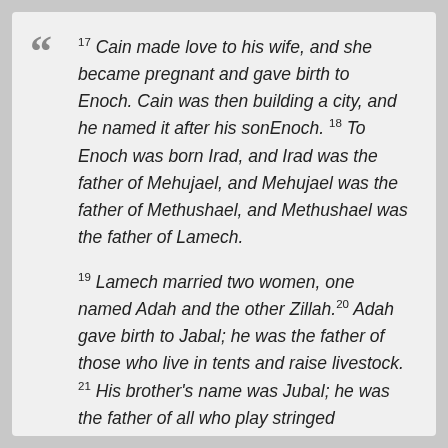17 Cain made love to his wife, and she became pregnant and gave birth to Enoch. Cain was then building a city, and he named it after his sonEnoch. 18 To Enoch was born Irad, and Irad was the father of Mehujael, and Mehujael was the father of Methushael, and Methushael was the father of Lamech.
19 Lamech married two women, one named Adah and the other Zillah. 20 Adah gave birth to Jabal; he was the father of those who live in tents and raise livestock. 21 His brother's name was Jubal; he was the father of all who play stringed instruments and pipes. 22 Zillah also had a son, Tubal-Cain, who forged all kinds of tools out of bronze and iron. Tubal-Cain's sister was Naamah.
23 Lamech said to his wives,